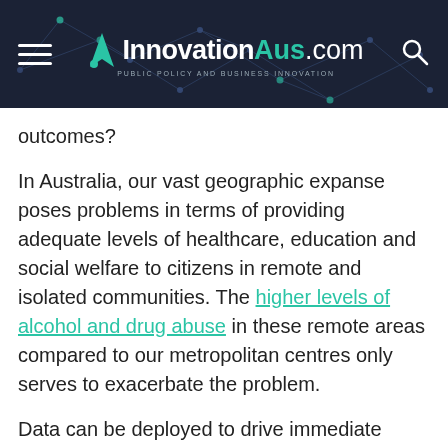InnovationAus.com — PUBLIC POLICY AND BUSINESS INNOVATION
outcomes?
In Australia, our vast geographic expanse poses problems in terms of providing adequate levels of healthcare, education and social welfare to citizens in remote and isolated communities. The higher levels of alcohol and drug abuse in these remote areas compared to our metropolitan centres only serves to exacerbate the problem.
Data can be deployed to drive immediate healthcare outcomes, for example overlaying health with socioeconomic data such as criminology and education statistics around early childhood development. There is potential to